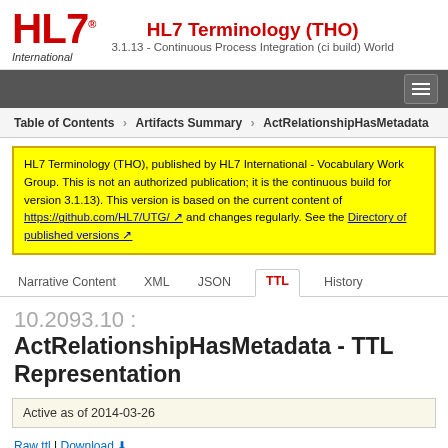HL7 Terminology (THO) — 3.1.13 - Continuous Process Integration (ci build) World
Table of Contents > Artifacts Summary > ActRelationshipHasMetadata
HL7 Terminology (THO), published by HL7 International - Vocabulary Work Group. This is not an authorized publication; it is the continuous build for version 3.1.13). This version is based on the current content of https://github.com/HL7/UTG/ and changes regularly. See the Directory of published versions
Narrative Content  XML  JSON  TTL  History
10.2093.10 : ActRelationshipHasMetadata - TTL Representation
Active as of 2014-03-26
Raw ttl | Download